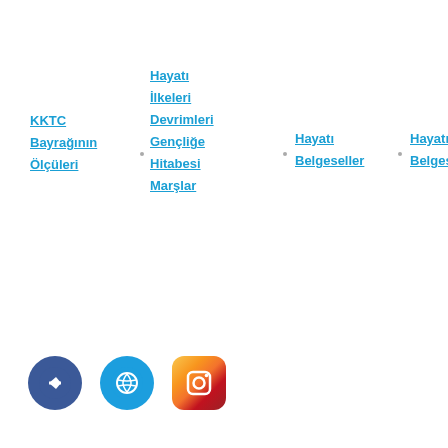KKTC Bayrağının Ölçüleri
Hayatı
İlkeleri
Devrimleri
Gençliğe
Hitabesi
Marşlar
Hayatı
Belgeseller
Hayatı
Belgeseller
[Figure (logo): Three social media icons: a dark blue circular Facebook-style icon with arrow, a light blue circular icon with a crescent/globe symbol, and an Instagram-style gradient icon with camera symbol.]